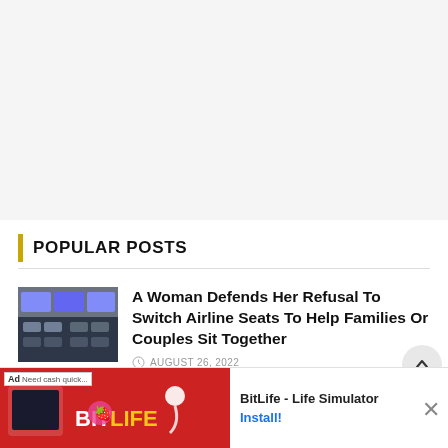[Figure (other): White/gray top area (advertisement or blank space)]
POPULAR POSTS
[Figure (photo): Airplane cabin interior with passengers seated]
A Woman Defends Her Refusal To Switch Airline Seats To Help Families Or Couples Sit Together
AUGUST 26, 2022
American Express Platinum Travel Is
[Figure (screenshot): BitLife - Life Simulator advertisement banner at bottom of page]
BitLife - Life Simulator
Install!